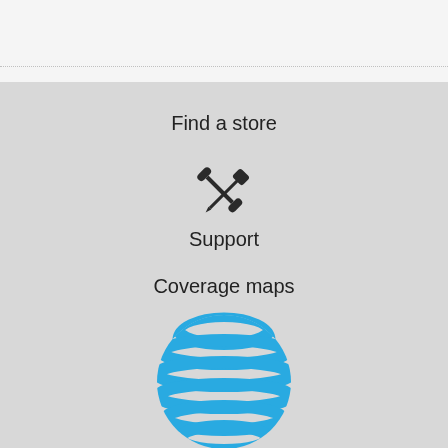Find a store
[Figure (illustration): Tools/support icon: crossed screwdriver and wrench]
Support
Coverage maps
[Figure (logo): AT&T globe logo in blue]